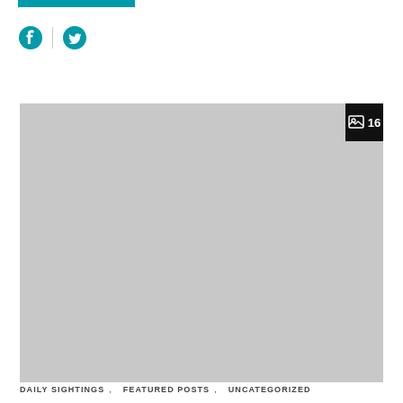[Figure (other): Teal/cyan horizontal bar at the top of the page]
[Figure (other): Social media share icons: Facebook circle icon and Twitter bird icon separated by a vertical divider line]
[Figure (other): Large gray image placeholder with a black badge in the top-right corner showing a photo icon and the number 16, indicating a gallery of 16 images]
DAILY SIGHTINGS,   FEATURED POSTS,   UNCATEGORIZED